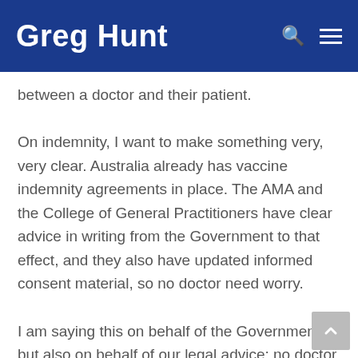Greg Hunt
between a doctor and their patient.
On indemnity, I want to make something very, very clear. Australia already has vaccine indemnity agreements in place. The AMA and the College of General Practitioners have clear advice in writing from the Government to that effect, and they also have updated informed consent material, so no doctor need worry.
I am saying this on behalf of the Government but also on behalf of our legal advice: no doctor need worry. And as the